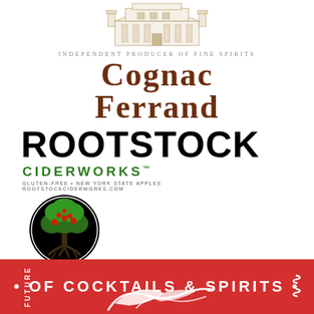[Figure (logo): Cognac Ferrand logo with illustration of a chateau/building at top, tagline 'INDEPENDENT PRODUCER OF FINE SPIRITS' in spaced serif text, and large serif text 'COGNAC FERRAND' in dark reddish-brown color]
[Figure (logo): Rootstock Ciderworks logo with large bold black text 'ROOTSTOCK', green text 'CIDERWORKS' with TM mark, small text 'GLUTEN-FREE • NEW YORK STATE APPLES' and 'ROOTSTOCKCIDERWORKS.COM', and circular tree illustration with roots]
[Figure (logo): Red banner logo with vertical text 'FUTURE' on left side, bullet points, and centered text 'OF COCKTAILS & SPIRITS' in white on red background, with bird/martini glass illustration at bottom]